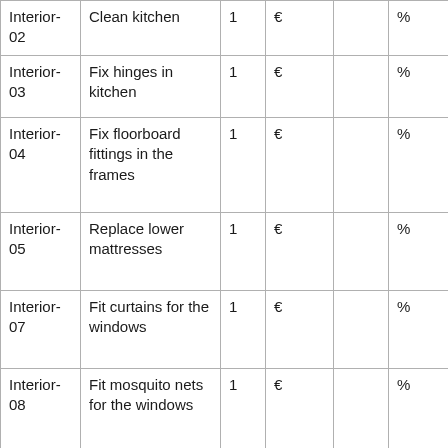| Interior-02 | Clean kitchen | 1 | € |  | % |
| Interior-03 | Fix hinges in kitchen | 1 | € |  | % |
| Interior-04 | Fix floorboard fittings in the frames | 1 | € |  | % |
| Interior-05 | Replace lower mattresses | 1 | € |  | % |
| Interior-07 | Fit curtains for the windows | 1 | € |  | % |
| Interior-08 | Fit mosquito nets for the windows | 1 | € |  | % |